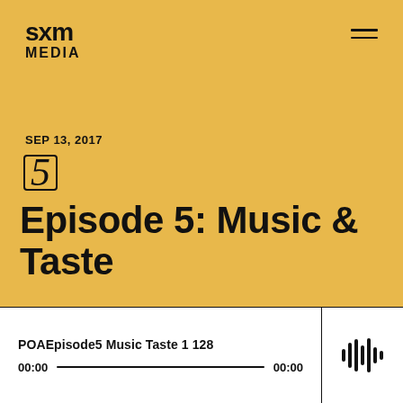[Figure (logo): SXM MEDIA logo in black text on golden yellow background]
SEP 13, 2017
5
Episode 5: Music & Taste
[Figure (screenshot): Audio player widget with filename 'POAEpisode5 Music Taste 1 128', time display '00:00' on both sides, progress bar, and waveform icon on the right]